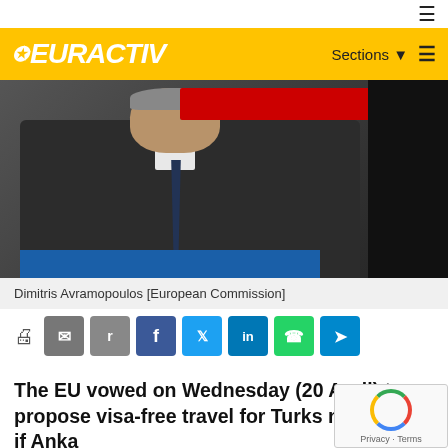EURACTIV
[Figure (photo): Dimitris Avramopoulos speaking at a podium, wearing a dark suit, with red digital display boards visible in the background and a blue banner at the bottom.]
Dimitris Avramopoulos [European Commission]
The EU vowed on Wednesday (20 April) to propose visa-free travel for Turks next month if Ankara meets the terms of a landmark refugee deal, and tried to defuse a row with Turkey's leaders.